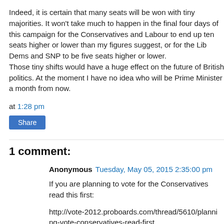Indeed, it is certain that many seats will be won with tiny majorities. It won't take much to happen in the final four days of this campaign for the Conservatives and Labour to end up ten seats higher or lower than my figures suggest, or for the Lib Dems and SNP to be five seats higher or lower.
Those tiny shifts would have a huge effect on the future of British politics. At the moment I have no idea who will be Prime Minister a month from now.
at 1:28 pm
Share
1 comment:
Anonymous  Tuesday, May 05, 2015 2:35:00 pm
If you are planning to vote for the Conservatives read this first:
http://vote-2012.proboards.com/thread/5610/planning-vote-conservatives-read-first